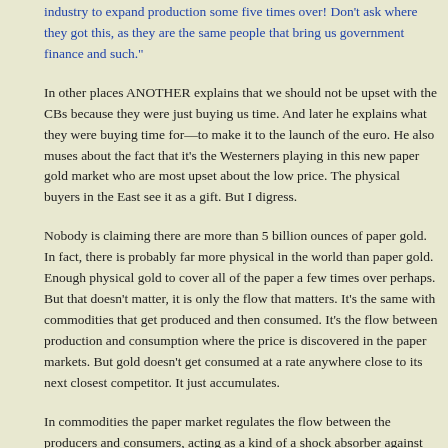industry to expand production some five times over! Don't ask where they got this, as they are the same people that bring us government finance and such."
In other places ANOTHER explains that we should not be upset with the CBs because they were just buying us time. And later he explains what they were buying time for—to make it to the launch of the euro. He also muses about the fact that it's the Westerners playing in this new paper gold market who are most upset about the low price. The physical buyers in the East see it as a gift. But I digress.
Nobody is claiming there are more than 5 billion ounces of paper gold. In fact, there is probably far more physical in the world than paper gold. Enough physical gold to cover all of the paper a few times over perhaps. But that doesn't matter, it is only the flow that matters. It's the same with commodities that get produced and then consumed. It's the flow between production and consumption where the price is discovered in the paper markets. But gold doesn't get consumed at a rate anywhere close to its next closest competitor. It just accumulates.
In commodities the paper market regulates the flow between the producers and consumers, acting as a kind of a shock absorber against unexpected supply and demand shocks. But gold is different because it just accumulates. There are two main differences between gold and